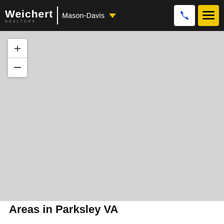Weichert REALTORS | Mason-Davis
[Figure (map): A gray placeholder map with zoom in (+) and zoom out (-) controls in the top-left corner.]
Areas in Parksley VA